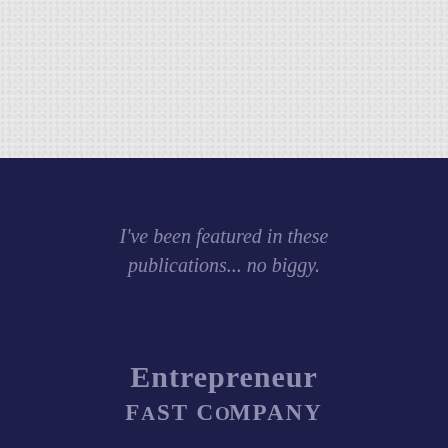[Figure (illustration): Top portion with light gray textured/mottled background taking up approximately the top third of the page]
I've been featured in these publications... no biggy.
Entrepreneur
FAST COMPANY